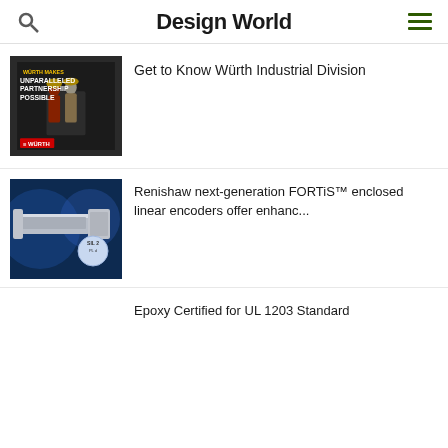Design World
Get to Know Würth Industrial Division
[Figure (photo): Würth Industrial Division advertisement showing two workers in an industrial setting with text 'WÜRTH MAKES UNPARALLELED PARTNERSHIP POSSIBLE']
Renishaw next-generation FORTiS™ enclosed linear encoders offer enhanc...
[Figure (photo): Renishaw FORTiS enclosed linear encoder product image on blue background with SIL 2 PLd certification badge]
Epoxy Certified for UL 1203 Standard